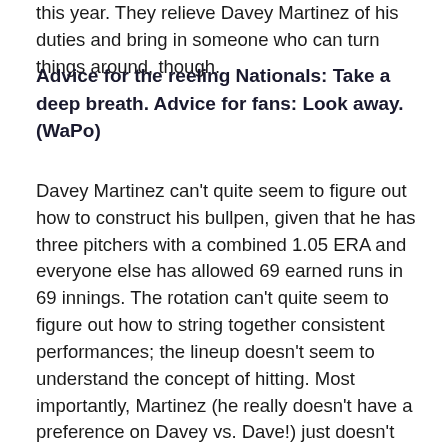this year. They relieve Davey Martinez of his duties and bring in someone who can turn things around, though.
Advice for the reeling Nationals: Take a deep breath. Advice for fans: Look away. (WaPo)
Davey Martinez can't quite seem to figure out how to construct his bullpen, given that he has three pitchers with a combined 1.05 ERA and everyone else has allowed 69 earned runs in 69 innings. The rotation can't quite seem to figure out how to string together consistent performances; the lineup doesn't seem to understand the concept of hitting. Most importantly, Martinez (he really doesn't have a preference on Davey vs. Dave!) just doesn't know how to push his team into high gear. Boswell also wants the Nats to finally admit that their medical team failed; that their bullpen plan failed; that their roster revamp has flopped — though he doesn't think there's any manager in